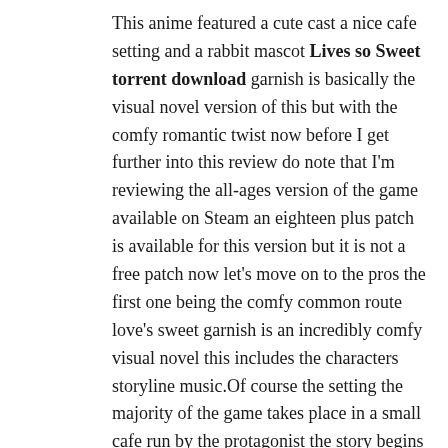This anime featured a cute cast a nice cafe setting and a rabbit mascot Lives so Sweet torrent download garnish is basically the visual novel version of this but with the comfy romantic twist now before I get further into this review do note that I'm reviewing the all-ages version of the game available on Steam an eighteen plus patch is available for this version but it is not a free patch now let's move on to the pros the first one being the comfy common route love's sweet garnish is an incredibly comfy visual novel this includes the characters storyline music.Of course the setting the majority of the game takes place in a small cafe run by the protagonist the story begins with the opening of this cafe and then follows the daily activities of its staff whether it be training new waitresses or figuring out what new item to add to the menu the setting makes the game and more